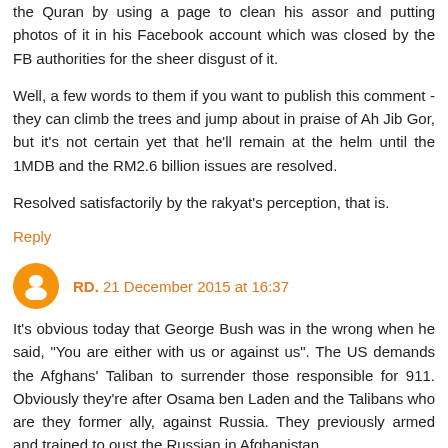the Quran by using a page to clean his assor and putting photos of it in his Facebook account which was closed by the FB authorities for the sheer disgust of it.
Well, a few words to them if you want to publish this comment - they can climb the trees and jump about in praise of Ah Jib Gor, but it's not certain yet that he'll remain at the helm until the 1MDB and the RM2.6 billion issues are resolved.
Resolved satisfactorily by the rakyat's perception, that is.
Reply
RD.  21 December 2015 at 16:37
It's obvious today that George Bush was in the wrong when he said, "You are either with us or against us". The US demands the Afghans' Taliban to surrender those responsible for 911. Obviously they're after Osama ben Laden and the Talibans who are they former ally, against Russia. They previously armed and trained to oust the Russian in Afghanistan.